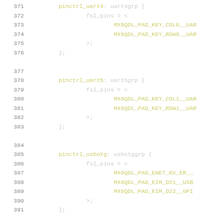Code listing lines 371-391: Device tree pinctrl definitions for uart4, uart5, and usbotg groups including fsl,pins assignments with MX6QDL_PAD_KEY_COL0__UART, MX6QDL_PAD_KEY_ROW0__UART, MX6QDL_PAD_KEY_COL1__UART, MX6QDL_PAD_KEY_ROW1__UART, MX6QDL_PAD_ENET_RX_ER__, MX6QDL_PAD_EIM_D21__USB, MX6QDL_PAD_EIM_D22__GPI